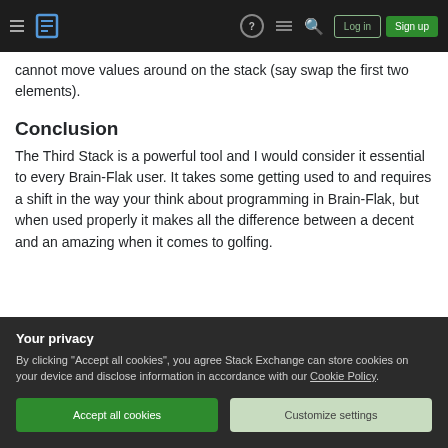Stack Exchange navigation bar with Log in and Sign up buttons
cannot move values around on the stack (say swap the first two elements).
Conclusion
The Third Stack is a powerful tool and I would consider it essential to every Brain-Flak user. It takes some getting used to and requires a shift in the way your think about programming in Brain-Flak, but when used properly it makes all the difference between a decent and an amazing when it comes to golfing.
Your privacy
By clicking "Accept all cookies", you agree Stack Exchange can store cookies on your device and disclose information in accordance with our Cookie Policy.
Accept all cookies
Customize settings